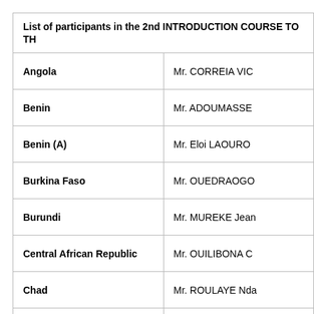| List of participants in the 2nd INTRODUCTION COURSE TO TH |  |
| --- | --- |
| Angola | Mr. CORREIA VIC |
| Benin | Mr. ADOUMASSE |
| Benin (A) | Mr. Eloi LAOURO |
| Burkina Faso | Mr. OUEDRAOGO |
| Burundi | Mr. MUREKE Jean |
| Central African Republic | Mr. OUILIBONA C |
| Chad | Mr. ROULAYE Nda |
| Comoros | Mr. HACHIM Abb |